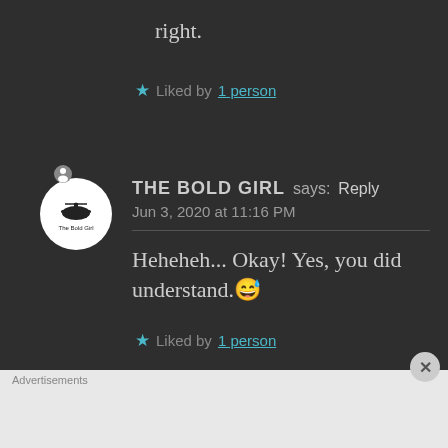right.
★ Liked by 1 person
[Figure (illustration): Circular avatar with white background showing The Bold Girl logo (helicopter/bird icon with text 'The Bold Girl')]
THE BOLD GIRL says: Reply
Jun 3, 2020 at 11:16 PM
Heheheh... Okay! Yes, you did understand.😅
★ Liked by 1 person
Advertisements
[Figure (screenshot): DAY ONE app advertisement banner - blue background with app icons and text 'The only journaling app you'll ever need.']